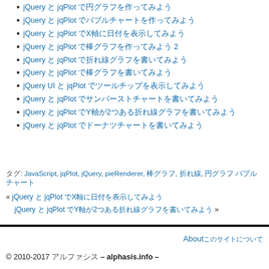jQuery と jqPlot で円グラフを作ってみよう
jQuery と jqPlot でバブルチャートを作ってみよう
jQuery と jqPlot でX軸に日付を表示してみよう
jQuery と jqPlot で棒グラフを作ってみよう 2
jQuery と jqPlot で折れ線グラフを書いてみよう
jQuery と jqPlot で棒グラフを書いてみよう
jQuery UI と jqPlot でツールチップを表示してみよう
jQuery と jqPlot でサンバーストチャートを書いてみよう
jQuery と jqPlot でY軸が2つある折れ線グラフを書いてみよう
jQuery と jqPlot でドーナツチャートを書いてみよう
タグ: JavaScript, jqPlot, jQuery, pieRenderer, 棒グラフ, 折れ線, 円グラフ バブルチャート
« jQuery と jqPlot でX軸に日付を表示してみよう
  jQuery と jqPlot でY軸が2つある折れ線グラフを書いてみよう »
About このサイトについて
© 2010-2017 アルファシス – alphasis.info –